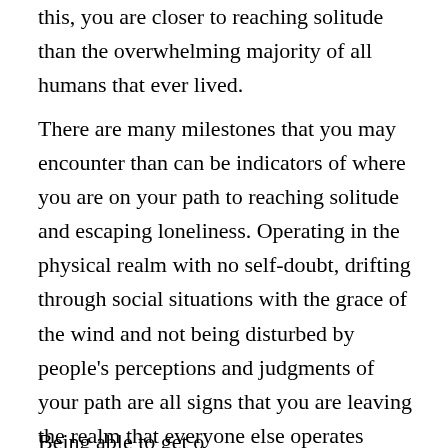this, you are closer to reaching solitude than the overwhelming majority of all humans that ever lived.
There are many milestones that you may encounter than can be indicators of where you are on your path to reaching solitude and escaping loneliness. Operating in the physical realm with no self-doubt, drifting through social situations with the grace of the wind and not being disturbed by people's perceptions and judgments of your path are all signs that you are leaving the realm that everyone else operates within and are moving on to something greater.
Being able to get outside the thoughts that everybody else...